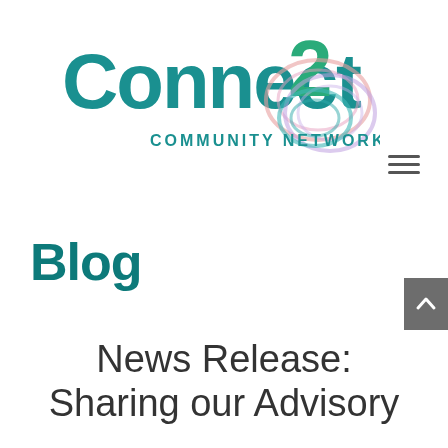[Figure (logo): Connect 2 Community Network logo with teal text and decorative circular motif]
Blog
News Release: Sharing our Advisory